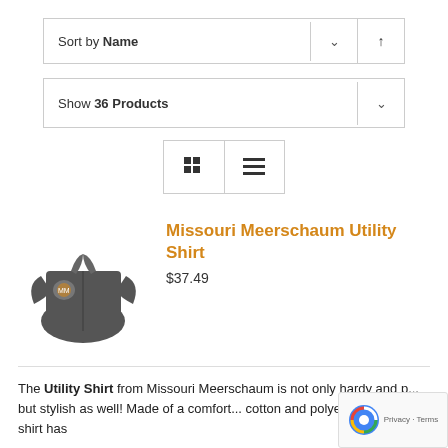Sort by Name
Show 36 Products
[Figure (screenshot): View toggle buttons: grid and list view icons]
[Figure (photo): Dark grey short-sleeve utility shirt with orange logo]
Missouri Meerschaum Utility Shirt
$37.49
The Utility Shirt from Missouri Meerschaum is not only hardy and p... but stylish as well! Made of a comfort... cotton and polyester blend. This shirt has